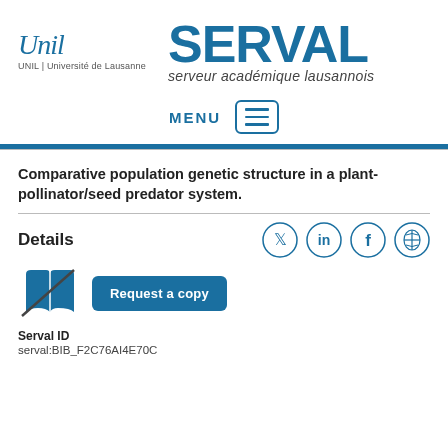[Figure (logo): UNIL Université de Lausanne logo with italic script and SERVAL serveur académique lausannois text]
[Figure (other): MENU button with hamburger icon in blue border]
Comparative population genetic structure in a plant-pollinator/seed predator system.
Details
[Figure (other): Book with cross-out icon and Request a copy button]
Serval ID
serval:BIB_F2C76AI4E70C